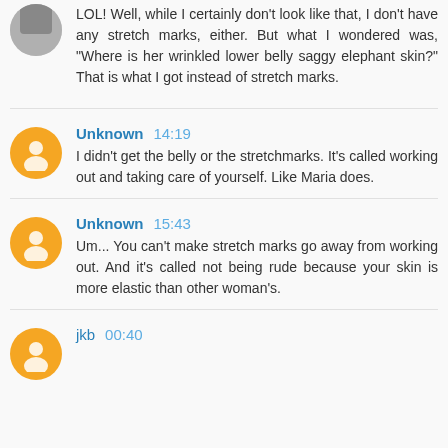LOL! Well, while I certainly don't look like that, I don't have any stretch marks, either. But what I wondered was, "Where is her wrinkled lower belly saggy elephant skin?" That is what I got instead of stretch marks.
Unknown 14:19
I didn't get the belly or the stretchmarks. It's called working out and taking care of yourself. Like Maria does.
Unknown 15:43
Um... You can't make stretch marks go away from working out. And it's called not being rude because your skin is more elastic than other woman's.
jkb 00:40